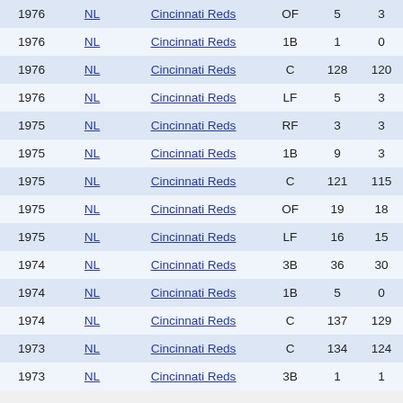| Year | League | Team | Pos | G | GS |
| --- | --- | --- | --- | --- | --- |
| 1976 | NL | Cincinnati Reds | OF | 5 | 3 |
| 1976 | NL | Cincinnati Reds | 1B | 1 | 0 |
| 1976 | NL | Cincinnati Reds | C | 128 | 120 |
| 1976 | NL | Cincinnati Reds | LF | 5 | 3 |
| 1975 | NL | Cincinnati Reds | RF | 3 | 3 |
| 1975 | NL | Cincinnati Reds | 1B | 9 | 3 |
| 1975 | NL | Cincinnati Reds | C | 121 | 115 |
| 1975 | NL | Cincinnati Reds | OF | 19 | 18 |
| 1975 | NL | Cincinnati Reds | LF | 16 | 15 |
| 1974 | NL | Cincinnati Reds | 3B | 36 | 30 |
| 1974 | NL | Cincinnati Reds | 1B | 5 | 0 |
| 1974 | NL | Cincinnati Reds | C | 137 | 129 |
| 1973 | NL | Cincinnati Reds | C | 134 | 124 |
| 1973 | NL | Cincinnati Reds | 3B | 1 | 1 |